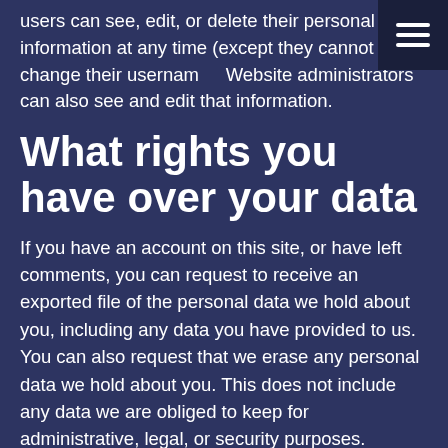users can see, edit, or delete their personal information at any time (except they cannot change their username). Website administrators can also see and edit that information.
What rights you have over your data
If you have an account on this site, or have left comments, you can request to receive an exported file of the personal data we hold about you, including any data you have provided to us. You can also request that we erase any personal data we hold about you. This does not include any data we are obliged to keep for administrative, legal, or security purposes.
Where we send your data
Visitor comments may be checked through an automated